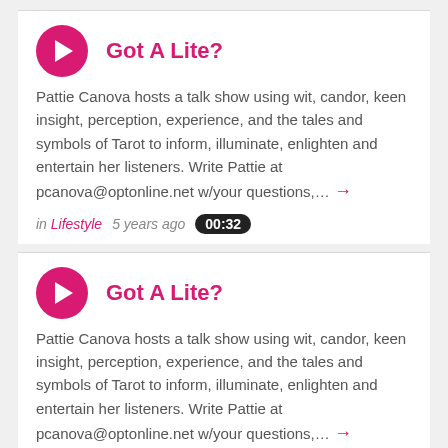Got A Lite?
Pattie Canova hosts a talk show using wit, candor, keen insight, perception, experience, and the tales and symbols of Tarot to inform, illuminate, enlighten and entertain her listeners. Write Pattie at pcanova@optonline.net w/your questions,…
in Lifestyle   5 years ago   00:32
Got A Lite?
Pattie Canova hosts a talk show using wit, candor, keen insight, perception, experience, and the tales and symbols of Tarot to inform, illuminate, enlighten and entertain her listeners. Write Pattie at pcanova@optonline.net w/your questions,…